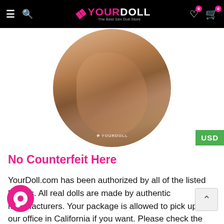YourDoll — The Best Sex Doll Store
[Figure (photo): Circular cropped product photo showing a group of dolls, with a YourDoll watermark at the bottom]
No Counterfeit Here
YourDoll.com has been authorized by all of the listed brands. All real dolls are made by authentic manufacturers. Your package is allowed to pick up at our office in California if you want. Please check the verification code or email the manufacturer directly to confirm your doll is genuine. We offer a quality